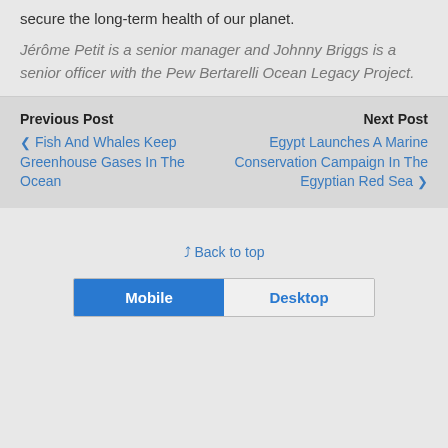secure the long-term health of our planet.
Jérôme Petit is a senior manager and Johnny Briggs is a senior officer with the Pew Bertarelli Ocean Legacy Project.
Previous Post
Fish And Whales Keep Greenhouse Gases In The Ocean
Next Post
Egypt Launches A Marine Conservation Campaign In The Egyptian Red Sea
Back to top
Mobile
Desktop